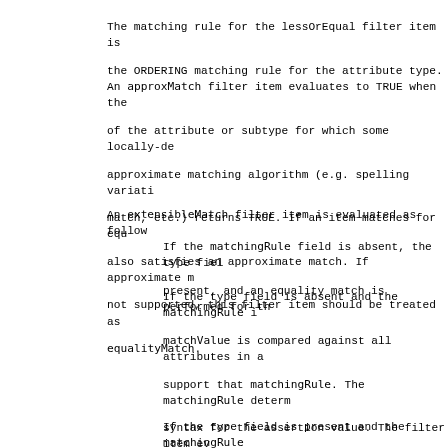The matching rule for the lessOrEqual filter item is the ORDERING matching rule for the attribute type.
An approxMatch filter item evaluates to TRUE when the of the attribute or subtype for which some locally-de approximate matching algorithm (e.g. spelling variati match, etc.) returns TRUE. If an item matches for equ also satisfies an approximate match. If approximate m not supported, this filter item should be treated as equalityMatch.
An extensibleMatch filter item is evaluated as follow
If the matchingRule field is absent, the type fiel present, and an equality match is performed for th
If the type field is absent and the matchingRule i matchValue is compared against all attributes in a support that matchingRule. The matchingRule determ syntax for the assertion value. The filter item ev TRUE if it matches with at least one attribute in FALSE if it does not match any attribute in the en Undefined if the matchingRule is not recognized or assertionValue is invalid.
If the type field is present and the matchingRule the matchValue is compared against entry attribute specified type. In this case, the matchingRule MUS